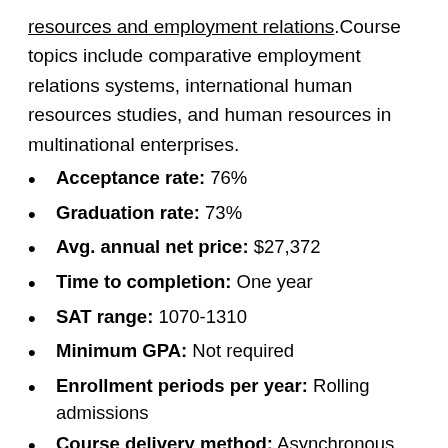resources and employment relations. Course topics include comparative employment relations systems, international human resources studies, and human resources in multinational enterprises.
Acceptance rate: 76%
Graduation rate: 73%
Avg. annual net price: $27,372
Time to completion: One year
SAT range: 1070-1310
Minimum GPA: Not required
Enrollment periods per year: Rolling admissions
Course delivery method: Asynchronous
6. Central Michigan University